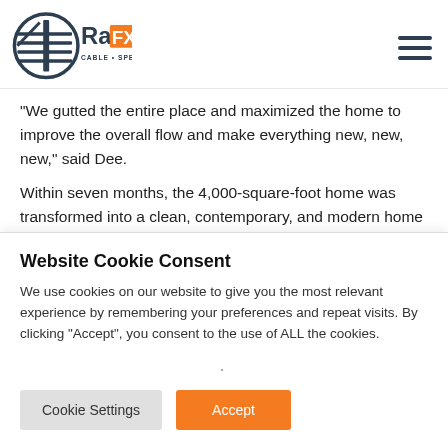[Figure (logo): RailFX Cable Specialty logo with circular emblem and orange FX badge]
“We gutted the entire place and maximized the home to improve the overall flow and make everything new, new, new,” said Dee.
Within seven months, the 4,000-square-foot home was transformed into a clean, contemporary, and modern home that is like nothing in the market for the overall cost of
Website Cookie Consent
We use cookies on our website to give you the most relevant experience by remembering your preferences and repeat visits. By clicking “Accept”, you consent to the use of ALL the cookies.